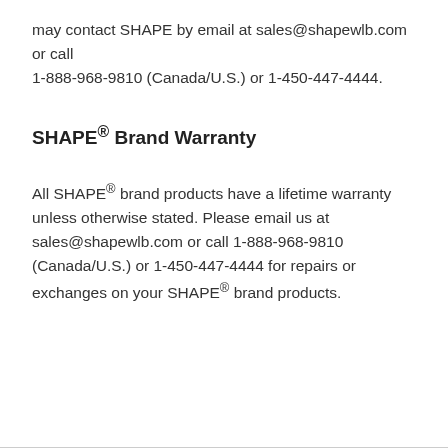may contact SHAPE by email at sales@shapewlb.com or call 1-888-968-9810 (Canada/U.S.) or 1-450-447-4444.
SHAPE® Brand Warranty
All SHAPE® brand products have a lifetime warranty unless otherwise stated. Please email us at sales@shapewlb.com or call 1-888-968-9810 (Canada/U.S.) or 1-450-447-4444 for repairs or exchanges on your SHAPE® brand products.